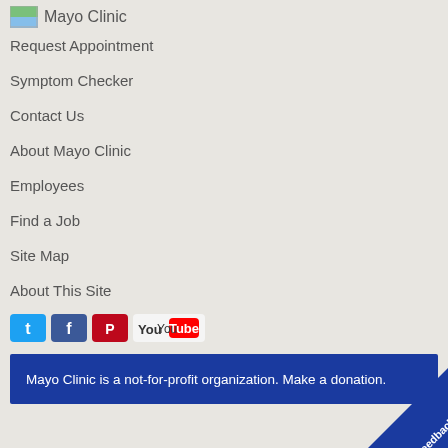Mayo Clinic
Request Appointment
Symptom Checker
Contact Us
About Mayo Clinic
Employees
Find a Job
Site Map
About This Site
[Figure (logo): Social media icons: Twitter, Facebook, Pinterest, YouTube]
Mayo Clinic is a not-for-profit organization. Make a donation.